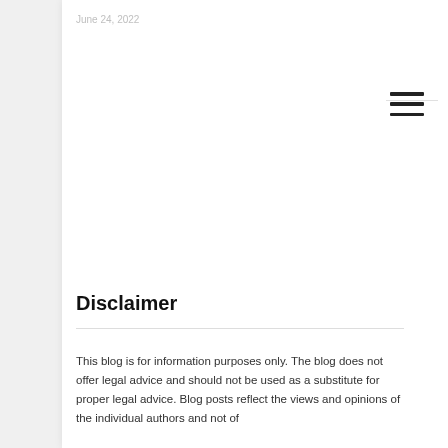June 24, 2022
Disclaimer
This blog is for information purposes only. The blog does not offer legal advice and should not be used as a substitute for proper legal advice. Blog posts reflect the views and opinions of the individual authors and not of